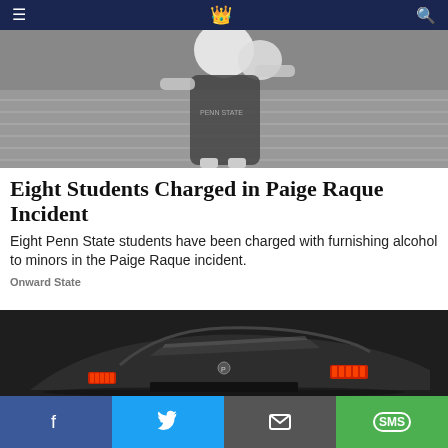Onward State navigation bar with hamburger menu, logo, and search icon
[Figure (photo): Black and white photo of a Penn State cheerleader holding a Nittany Lion mascot head at a football field]
Eight Students Charged in Paige Raque Incident
Eight Penn State students have been charged with furnishing alcohol to minors in the Paige Raque incident.
Onward State
[Figure (photo): Dark concept sports car (Peugeot) viewed from rear three-quarter angle with red tail lights]
Social sharing buttons: Facebook, Twitter, Email, SMS